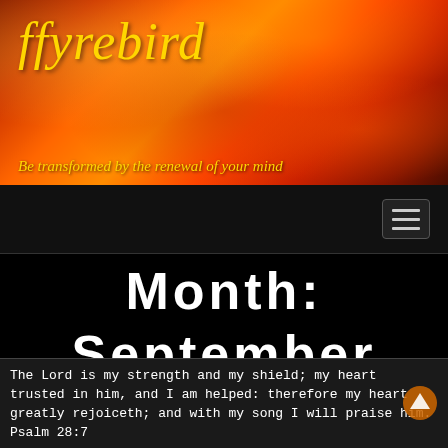[Figure (illustration): ffyrebird blog header banner with fire/flame background in orange and red tones. Yellow italic text reads 'ffyrebird' at top left and subtitle 'Be transformed by the renewal of your mind' at bottom left.]
Navigation bar with hamburger menu button
Month: September 2013
The Lord is my strength and my shield; my heart trusted in him, and I am helped: therefore my heart greatly rejoiceth; and with my song I will praise him. Psalm 28:7